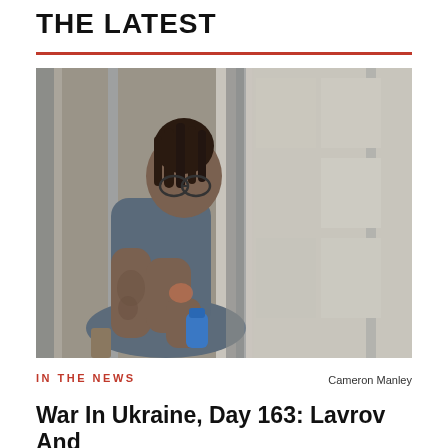THE LATEST
[Figure (photo): A person with dreadlocks, glasses, and tattoos sitting in what appears to be a defendant's cage, leaning forward and holding a blue water bottle. The image is taken through metal bars.]
IN THE NEWS
Cameron Manley
War In Ukraine, Day 163: Lavrov And